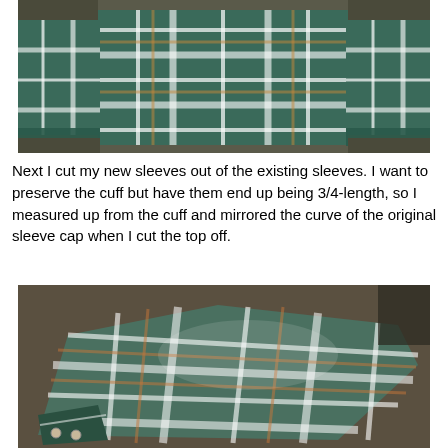[Figure (photo): A plaid flannel shirt laid flat on a dark surface, front view, with sleeves spread out to the sides. The shirt has a blue, green, and tan plaid pattern.]
Next I cut my new sleeves out of the existing sleeves. I want to preserve the cuff but have them end up being 3/4-length, so I measured up from the cuff and mirrored the curve of the original sleeve cap when I cut the top off.
[Figure (photo): A plaid shirt sleeve laid on a dark surface, showing the cuff end with buttons and the cut top edge. The fabric has a blue, green, orange, and white plaid pattern.]